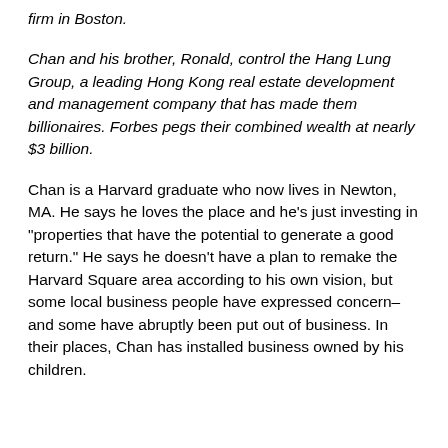firm in Boston.
Chan and his brother, Ronald, control the Hang Lung Group, a leading Hong Kong real estate development and management company that has made them billionaires. Forbes pegs their combined wealth at nearly $3 billion.
Chan is a Harvard graduate who now lives in Newton, MA. He says he loves the place and he’s just investing in “properties that have the potential to generate a good return.” He says he doesn’t have a plan to remake the Harvard Square area according to his own vision, but some local business people have expressed concern–and some have abruptly been put out of business. In their places, Chan has installed business owned by his children.